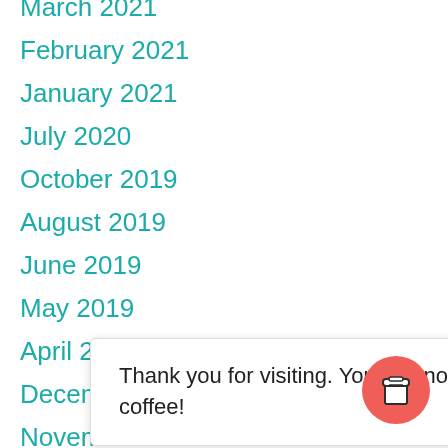March 2021
February 2021
January 2021
July 2020
October 2019
August 2019
June 2019
May 2019
April 20[19]
Decem[ber 2018]
November 2018
Thank you for visiting. You can now buy me a coffee!